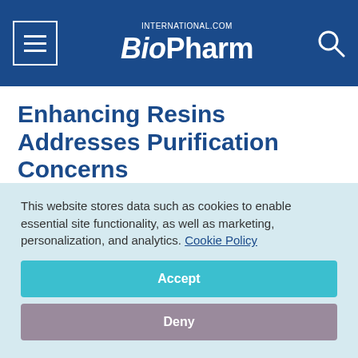BioPharm International
Enhancing Resins Addresses Purification Concerns
January 2, 2022
Feliza Mirasol
BioPharm International, BioPharm International, January 2022, Volume 35, Issue 1
Pages: 26–29
This website stores data such as cookies to enable essential site functionality, as well as marketing, personalization, and analytics. Cookie Policy